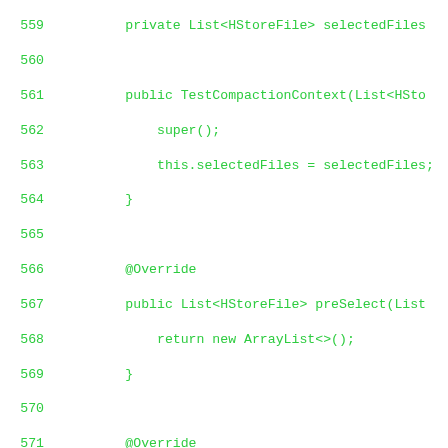[Figure (screenshot): Source code screenshot showing Java code lines 559-587, with green monospace text on white background. Code shows a TestCompactionContext class with constructor, preSelect, select, and compact method overrides.]